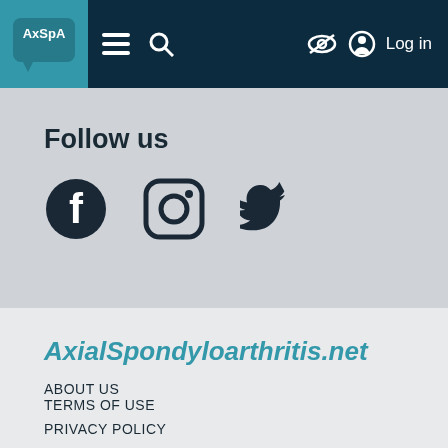AxSpA | menu | search | hide | Log in
Follow us
[Figure (illustration): Three social media icons: Facebook, Instagram, Twitter in dark navy color]
AxialSpondyloarthritis.net
ABOUT US
CONTACT US
TERMS OF USE
PRIVACY POLICY